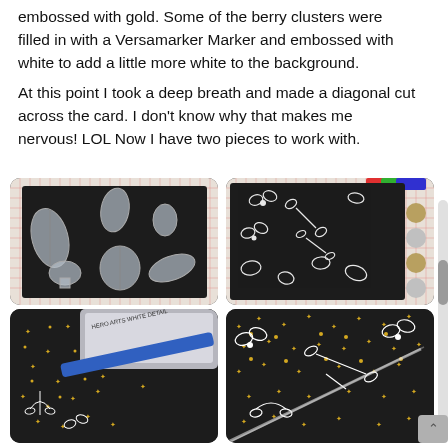embossed with gold. Some of the berry clusters were filled in with a Versamarker Marker and embossed with white to add a little more white to the background.
At this point I took a deep breath and made a diagonal cut across the card. I don't know why that makes me nervous! LOL Now I have two pieces to work with.
[Figure (photo): Clear acrylic leaf/foliage stamps laid out on a dark background over a grid mat — showing various shapes including holly, oak leaves, and abstract botanical forms.]
[Figure (photo): Dark cardstock with white embossed botanical designs — holly leaves, berries, pine sprigs — scattered across the surface, photographed on a grid mat with colorful ink pads visible at top.]
[Figure (photo): Close-up of dark cardstock with gold and white embossed snowflakes and botanical motifs, with a Hero Arts White Detail ink pad and a blue marker/tool resting on top.]
[Figure (photo): Dark cardstock with gold snowflakes and white embossed holly and botanical designs, showing a diagonal cut across the card with the two pieces slightly separated.]